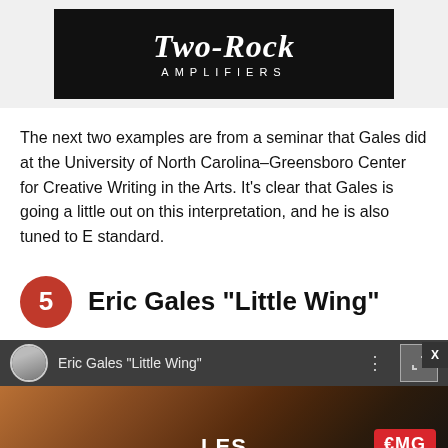[Figure (logo): Two-Rock Amplifiers logo on black background]
The next two examples are from a seminar that Gales did at the University of North Carolina–Greensboro Center for Creative Writing in the Arts. It's clear that Gales is going a little out on this interpretation, and he is also tuned to E standard.
5  Eric Gales "Little Wing"
[Figure (screenshot): Video thumbnail for Eric Gales 'Little Wing' with an advertisement overlay showing Les Claypool and EMG branding]